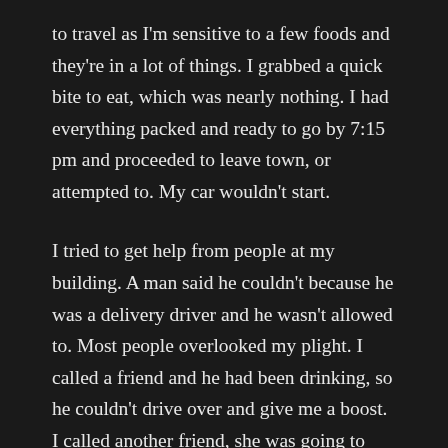to travel as I'm sensitive to a few foods and they're in a lot of things. I grabbed a quick bite to eat, which was nearly nothing. I had everything packed and ready to go by 7:15 pm and proceeded to leave town, or attempted to. My car wouldn't start.
I tried to get help from people at my building. A man said he couldn't because he was a delivery driver and he wasn't allowed to. Most people overlooked my plight. I called a friend and he had been drinking, so he couldn't drive over and give me a boost. I called another friend, she was going to come and give me a boost, but it took a long time to get her car started and in the middle of waiting for her, another man saw I was struggling and offered to help me once he was finished helping an older lady with her groceries. He came down eventually and got my car started